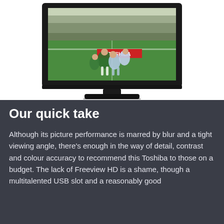[Figure (photo): A Toshiba flat-screen LCD television displaying a rugby match on screen, showing players tackling each other on a green field with 'TOSHIBA' visible on a pitch-side advertisement board. The TV has a black bezel and stand.]
Our quick take
Although its picture performance is marred by blur and a tight viewing angle, there's enough in the way of detail, contrast and colour accuracy to recommend this Toshiba to those on a budget. The lack of Freeview HD is a shame, though a multitalented USB slot and a reasonably good